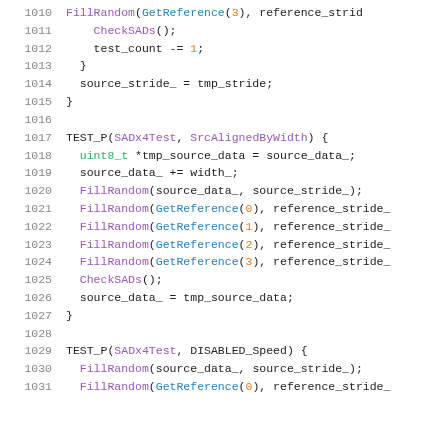[Figure (screenshot): Source code listing lines 1010-1031 in C++ with syntax highlighting, showing test functions FillRandom, CheckSADs, TEST_P(SADx4Test, SrcAlignedByWidth), TEST_P(SADx4Test, DISABLED_Speed)]